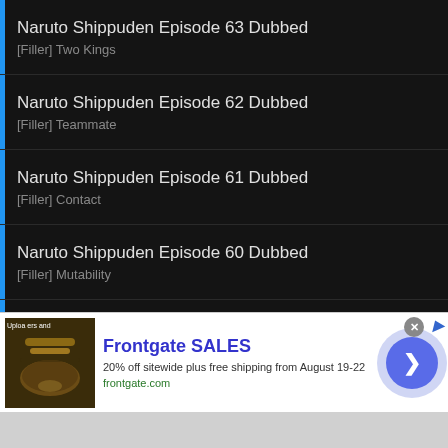Naruto Shippuden Episode 63 Dubbed
[Filler] Two Kings
Naruto Shippuden Episode 62 Dubbed
[Filler] Teammate
Naruto Shippuden Episode 61 Dubbed
[Filler] Contact
Naruto Shippuden Episode 60 Dubbed
[Filler] Mutability
Naruto Shippuden Episode 59 Dubbed
[Filler] New Enemy
Naruto Shippuden Episode 58 Dubbed
[Figure (screenshot): Advertisement banner for Frontgate SALES showing outdoor furniture. Text: Frontgate SALES, 20% off sitewide plus free shipping from August 19-22, frontgate.com]